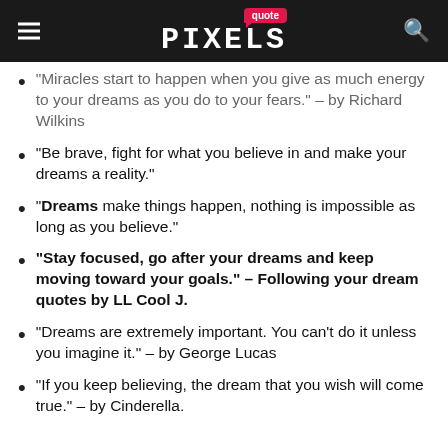quote PIXELS
“Miracles start to happen when you give as much energy to your dreams as you do to your fears.” – by Richard Wilkins
“Be brave, fight for what you believe in and make your dreams a reality.”
“Dreams make things happen, nothing is impossible as long as you believe.”
“Stay focused, go after your dreams and keep moving toward your goals.” – Following your dream quotes by LL Cool J.
“Dreams are extremely important. You can’t do it unless you imagine it.” – by George Lucas
“If you keep believing, the dream that you wish will come true.” – by Cinderella.